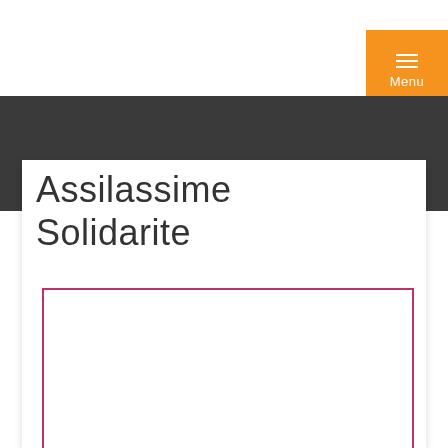Menu
Assilassime Solidarite
[Figure (other): Empty pink-bordered rectangle below the title, serving as a content placeholder or image frame]